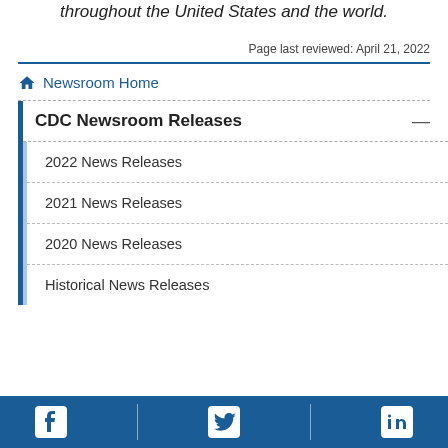throughout the United States and the world.
Page last reviewed: April 21, 2022
Newsroom Home
CDC Newsroom Releases
2022 News Releases
2021 News Releases
2020 News Releases
Historical News Releases
Facebook | Twitter | LinkedIn